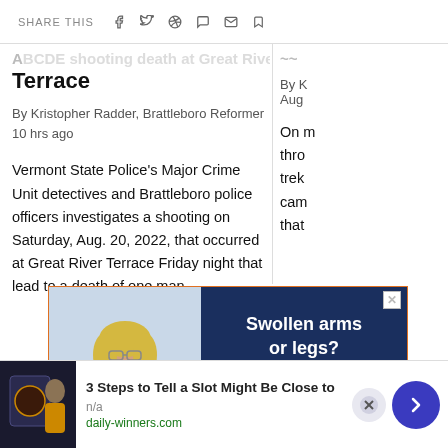SHARE THIS
Terrace
By Kristopher Radder, Brattleboro Reformer
10 hrs ago
Vermont State Police's Major Crime Unit detectives and Brattleboro police officers investigates a shooting on Saturday, Aug. 20, 2022, that occurred at Great River Terrace Friday night that lead to a death of one man.
By K
Aug
On m
thro
trek
cam
that
[Figure (photo): Advertisement showing a woman in a yellow jacket wearing a blue surgical mask on the left side, and on the right side dark blue background with white bold text reading 'Swollen arms or legs? Lymphedema? We can help!']
[Figure (photo): Bottom banner advertisement showing a person at a slot machine on the left, with text '3 Steps to Tell a Slot Might Be Close to' in bold, 'n/a' and 'daily-winners.com' below, and a blue arrow button on the right]